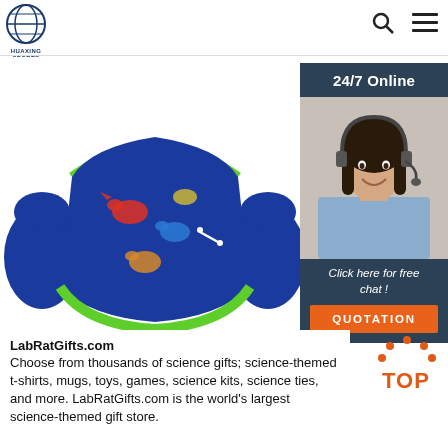HUAXING SPORTS
[Figure (photo): Children's puddle jumper / swim vest in navy blue with colorful dinosaur print and green trim, with two arm float wings on each side, photographed on white background]
[Figure (photo): Advertisement sidebar: 24/7 Online customer service agent - smiling woman with headset. Button: Click here for free chat! QUOTATION button in orange]
LabRatGifts.com
Choose from thousands of science gifts; science-themed t-shirts, mugs, toys, games, science kits, science ties, and more. LabRatGifts.com is the world's largest science-themed gift store.
[Figure (logo): TOP badge logo in orange/red dots forming an arch shape with letters TOP]